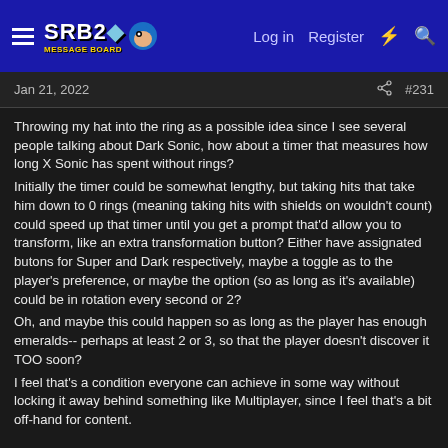SRB2 Message Board — Log in  Register
Jan 21, 2022  #231
Throwing my hat into the ring as a possible idea since I see several people talking about Dark Sonic, how about a timer that measures how long X Sonic has spent without rings?
Initially the timer could be somewhat lengthy, but taking hits that take him down to 0 rings (meaning taking hits with shields on wouldn't count) could speed up that timer until you get a prompt that'd allow you to transform, like an extra transformation button? Either have assignated butons for Super and Dark respectively, maybe a toggle as to the player's preference, or maybe the option (so as long as it's available) could be in rotation every second or 2?
Oh, and maybe this could happen so as long as the player has enough emeralds-- perhaps at least 2 or 3, so that the player doesn't discover it TOO soon?
I feel that's a condition everyone can achieve in some way without locking it away behind something like Multiplayer, since I feel that's a bit off-hand for content.